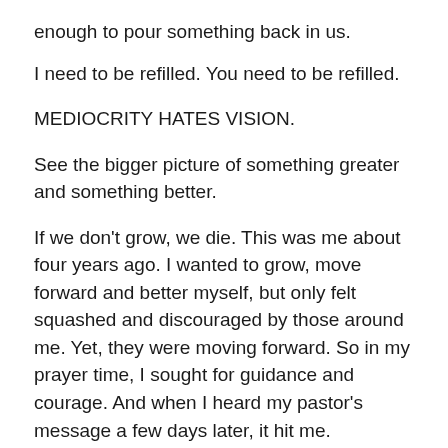enough to pour something back in us.
I need to be refilled. You need to be refilled.
MEDIOCRITY HATES VISION.
See the bigger picture of something greater and something better.
If we don't grow, we die. This was me about four years ago. I wanted to grow, move forward and better myself, but only felt squashed and discouraged by those around me. Yet, they were moving forward. So in my prayer time, I sought for guidance and courage. And when I heard my pastor's message a few days later, it hit me.